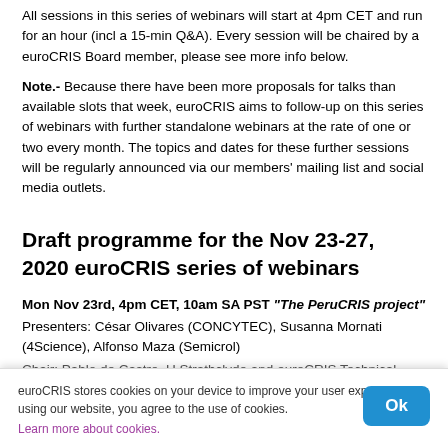All sessions in this series of webinars will start at 4pm CET and run for an hour (incl a 15-min Q&A). Every session will be chaired by a euroCRIS Board member, please see more info below.
Note.- Because there have been more proposals for talks than available slots that week, euroCRIS aims to follow-up on this series of webinars with further standalone webinars at the rate of one or two every month. The topics and dates for these further sessions will be regularly announced via our members' mailing list and social media outlets.
Draft programme for the Nov 23-27, 2020 euroCRIS series of webinars
Mon Nov 23rd, 4pm CET, 10am SA PST "The PeruCRIS project"
Presenters: César Olivares (CONCYTEC), Susanna Mornati (4Science), Alfonso Maza (Semicrol)
Chair: Pablo de Castro, U Strathclyde and euroCRIS Technical …
Session recording    Slides
PeruCRIS is the World Bank-funded project managed by the…
euroCRIS stores cookies on your device to improve your user experience. By using our website, you agree to the use of cookies.
Learn more about cookies.